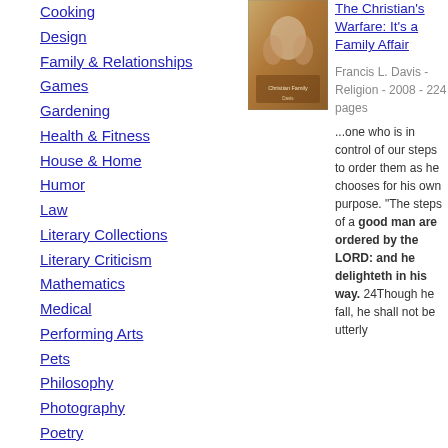Cooking
Design
Family & Relationships
Games
Gardening
Health & Fitness
House & Home
Humor
Law
Literary Collections
Literary Criticism
Mathematics
Medical
Performing Arts
Pets
Philosophy
Photography
Poetry
Political Science
Psychology
Religion
Self-Help
[Figure (photo): Book cover for The Christian's Warfare: It's a Family Affair]
The Christian's Warfare: It's a Family Affair
Francis L. Davis - Religion - 2008 - 224 pages
...one who is in control of our steps to order them as he chooses for his own purpose. "The steps of a good man are ordered by the LORD: and he delighteth in his way. 24Though he fall, he shall not be utterly